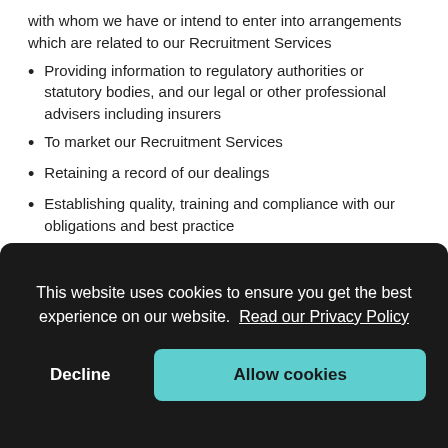with whom we have or intend to enter into arrangements which are related to our Recruitment Services
Providing information to regulatory authorities or statutory bodies, and our legal or other professional advisers including insurers
To market our Recruitment Services
Retaining a record of our dealings
Establishing quality, training and compliance with our obligations and best practice
For the purposes of backing up information on our computer systems
This website uses cookies to ensure you get the best experience on our website. Read our Privacy Policy
Decline    Allow cookies
with you.
may enter into arrangements with you and/or a third party. To enter into a contract to will need to in